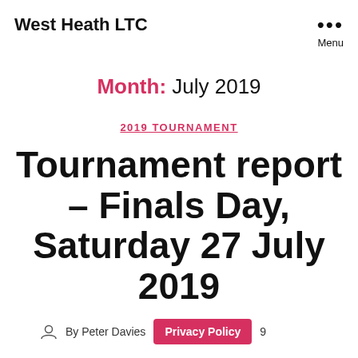West Heath LTC
Month: July 2019
2019 TOURNAMENT
Tournament report – Finals Day, Saturday 27 July 2019
By Peter Davies   Privacy Policy  9